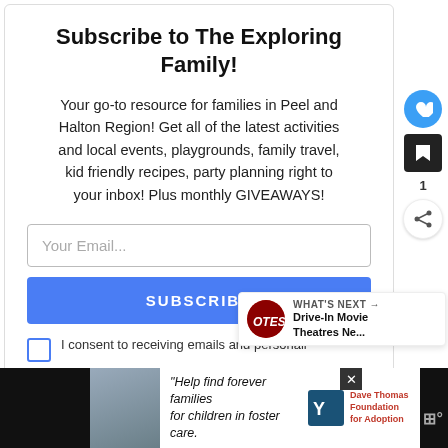Subscribe to The Exploring Family!
Your go-to resource for families in Peel and Halton Region! Get all of the latest activities and local events, playgrounds, family travel, kid friendly recipes, party planning right to your inbox! Plus monthly GIVEAWAYS!
[Figure (screenshot): Email subscription form with input field, Subscribe button, and consent checkbox]
[Figure (infographic): What's Next widget showing Drive-In Movie Theatres Ne...]
[Figure (photo): Advertisement bar: Help find forever families for children in foster care - Dave Thomas Foundation for Adoption]